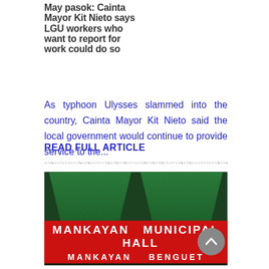May pasok: Cainta Mayor Kit Nieto says LGU workers who want to report for work could do so
As typhoon Ulysses slammed into the country, Cainta Mayor Kit Nieto said the local government would continue to provide service to the...
READ FULL ARTICLE
[Figure (photo): Photo of Mankayan Municipal Hall with green canopies and a red sign reading 'MANKAYAN MUNICIPAL HALL' and 'MANKAYAN BENGUET' below it]